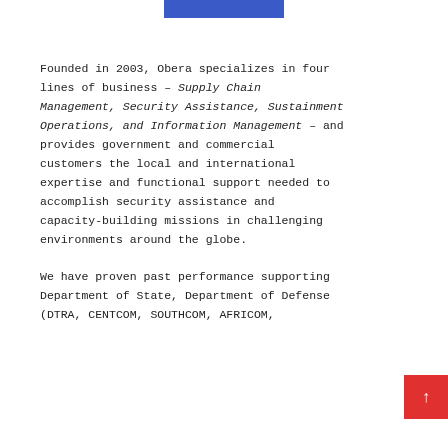[Figure (other): Blue horizontal bar/logo strip at top center of page]
Founded in 2003, Obera specializes in four lines of business – Supply Chain Management, Security Assistance, Sustainment Operations, and Information Management – and provides government and commercial customers the local and international expertise and functional support needed to accomplish security assistance and capacity-building missions in challenging environments around the globe.
We have proven past performance supporting Department of State, Department of Defense (DTRA, CENTCOM, SOUTHCOM, AFRICOM,